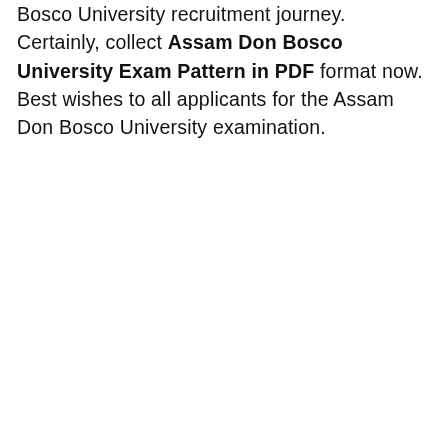Bosco University recruitment journey. Certainly, collect Assam Don Bosco University Exam Pattern in PDF format now. Best wishes to all applicants for the Assam Don Bosco University examination.